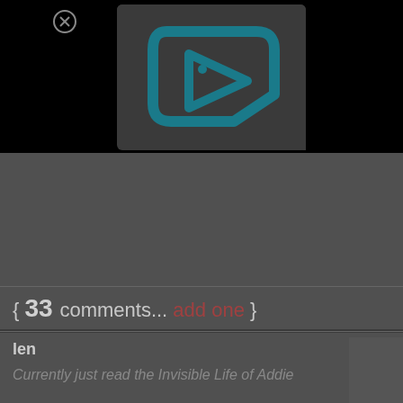[Figure (screenshot): Black top bar with a close (X) button on the upper left and a video thumbnail/player in the center showing a teal play-button logo on a dark gray background with rounded corners.]
{ 33 comments... add one }
len
Currently just read the Invisible Life of Addie